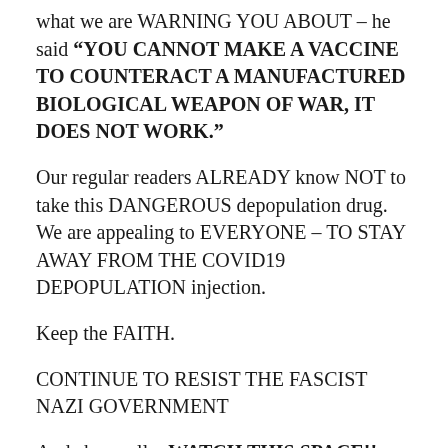what we are WARNING YOU ABOUT – he said "YOU CANNOT MAKE A VACCINE TO COUNTERACT A MANUFACTURED BIOLOGICAL WEAPON OF WAR, IT DOES NOT WORK."
Our regular readers ALREADY know NOT to take this DANGEROUS depopulation drug. We are appealing to EVERYONE – TO STAY AWAY FROM THE COVID19 DEPOPULATION injection.
Keep the FAITH.
CONTINUE TO RESIST THE FASCIST NAZI GOVERNMENT
And above all – WATCH THIS SPACE!!